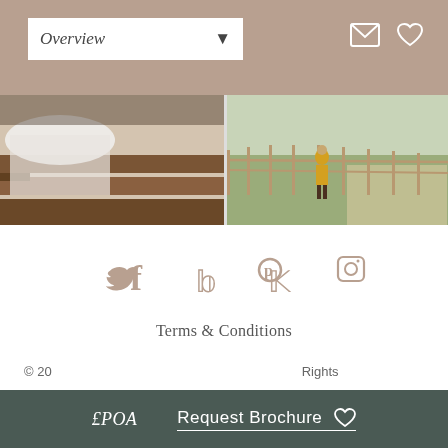Overview ▾
[Figure (photo): Two photo panels side by side: left shows wooden deck steps with white draped fabric, right shows a person in a yellow coat walking along a wooden fence in a rural landscape]
[Figure (infographic): Social media icons row: Facebook, Twitter, Pinterest, Instagram in muted brown/taupe color]
Terms & Conditions
Privacy & Cookies Policy
Diversity Statement
Sustainability
Brand Photography Credits
© 20[?]  [All] Rights
£POA   Request Brochure ♡